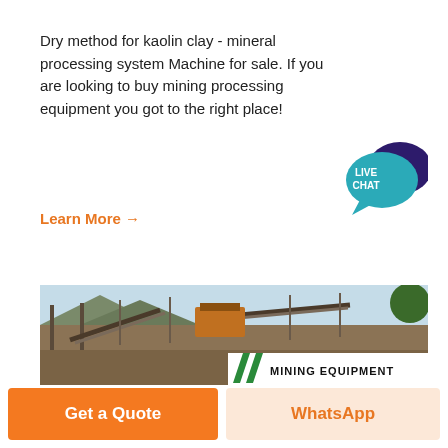Dry method for kaolin clay - mineral processing system Machine for sale. If you are looking to buy mining processing equipment you got to the right place!
Learn More →
[Figure (illustration): Live Chat speech bubble badge in teal/blue with dark purple chat bubble accent]
[Figure (photo): Outdoor mining/mineral processing plant with conveyor belts, machinery, and a waterlogged foreground. A white overlay banner at the bottom right shows green diagonal slashes and the text MINING EQUIPMENT.]
Get a Quote
WhatsApp